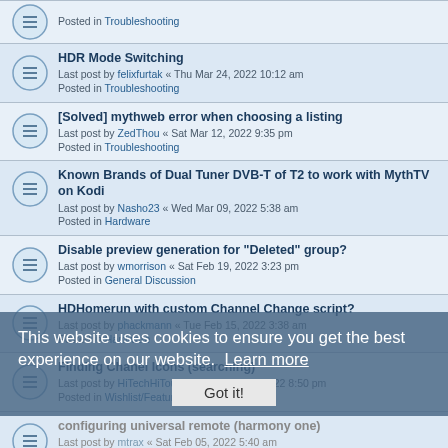Posted in Troubleshooting
HDR Mode Switching
Last post by felixfurtak « Thu Mar 24, 2022 10:12 am
Posted in Troubleshooting
[Solved] mythweb error when choosing a listing
Last post by ZedThou « Sat Mar 12, 2022 9:35 pm
Posted in Troubleshooting
Known Brands of Dual Tuner DVB-T of T2 to work with MythTV on Kodi
Last post by Nasho23 « Wed Mar 09, 2022 5:38 am
Posted in Hardware
Disable preview generation for "Deleted" group?
Last post by wmorrison « Sat Feb 19, 2022 3:23 pm
Posted in General Discussion
HDHomerun with custom Channel Change script?
Last post by phackmann « Tue Feb 15, 2022 3:38 am
Posted in Hardware
Finding Chanel Icons (searching)
Last post by HiTechHiTouch « Wed Feb 09, 2022 8:50 pm
Posted in Wishlist/Feature Suggestions
configuring universal remote (harmony one)
Last post by mtrax « Sat Feb 05, 2022 5:40 am
Posted in General Discussion
All cuts removed after mythtranscode runs.
Last post by BEDavisBrown « Wed Feb 02, 2022 7:18 am
Posted in General Discussion
0.29 upgrade
Last post by sailor20 « Sat Jan 22, 2022 5:34 pm
Posted in General Discussion
Recovering from Shield TV upgrade to version 9
This website uses cookies to ensure you get the best experience on our website. Learn more
Got it!